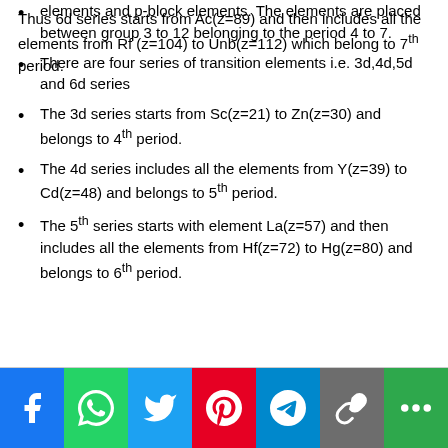elements and p-block elements. The elements are placed between group 3 to 12 belonging to the period 4 to 7.
There are four series of transition elements i.e. 3d,4d,5d and 6d series
The 3d series starts from Sc(z=21) to Zn(z=30) and belongs to 4th period.
The 4d series includes all the elements from Y(z=39) to Cd(z=48) and belongs to 5th period.
The 5th series starts with element La(z=57) and then includes all the elements from Hf(z=72) to Hg(z=80) and belongs to 6th period.
Thus 6d series starts from Ac(z=89) and then includes all the elements from Rf (z=104) to Unb(z=112) which belong to 7th period.
[Figure (infographic): Social media sharing buttons bar: Facebook (blue), WhatsApp (green), Twitter (light blue), Pinterest (red), Telegram (blue), link/copy (grey), more options (green)]